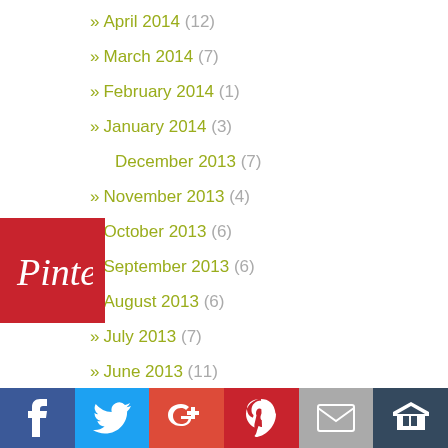» April 2014 (12)
» March 2014 (7)
» February 2014 (1)
» January 2014 (3)
December 2013 (7)
» November 2013 (4)
» October 2013 (6)
» September 2013 (6)
» August 2013 (6)
» July 2013 (7)
» June 2013 (11)
» May 2013 (8)
» April 2013 (7)